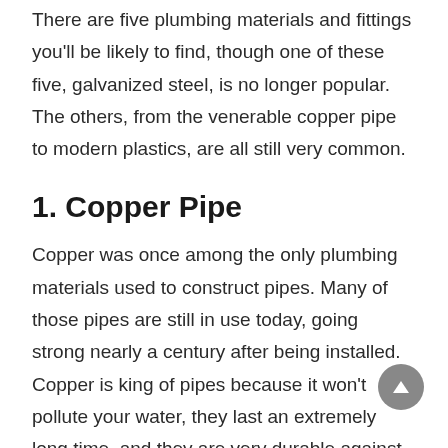There are five plumbing materials and fittings you'll be likely to find, though one of these five, galvanized steel, is no longer popular. The others, from the venerable copper pipe to modern plastics, are all still very common.
1. Copper Pipe
Copper was once among the only plumbing materials used to construct pipes. Many of those pipes are still in use today, going strong nearly a century after being installed. Copper is king of pipes because it won't pollute your water, they last an extremely long time, and they are very durable against damage though